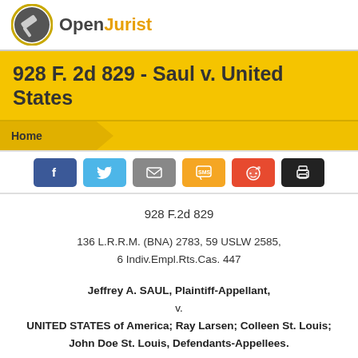[Figure (logo): OpenJurist logo with gavel icon and text 'Open' in dark gray and 'Jurist' in orange/yellow]
928 F. 2d 829 - Saul v. United States
Home
[Figure (infographic): Social sharing buttons: Facebook, Twitter, Email, SMS, Reddit, Print]
928 F.2d 829
136 L.R.R.M. (BNA) 2783, 59 USLW 2585, 6 Indiv.Empl.Rts.Cas. 447
Jeffrey A. SAUL, Plaintiff-Appellant, v. UNITED STATES of America; Ray Larsen; Colleen St. Louis; John Doe St. Louis, Defendants-Appellees.
No. 89-35698.